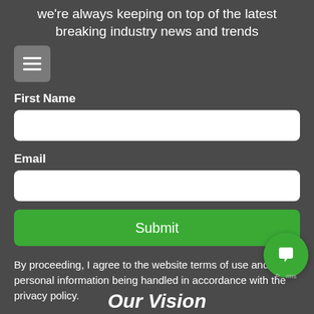we're always keeping on top of the latest breaking industry news and trends
[Figure (other): Hamburger menu icon button (three horizontal lines on gray rounded square background)]
First Name
Email
Submit
By proceeding, I agree to the website terms of use and to my personal information being handled in accordance with the privacy policy.
[Figure (other): Green circular chat bubble button in bottom right corner]
Our Vision